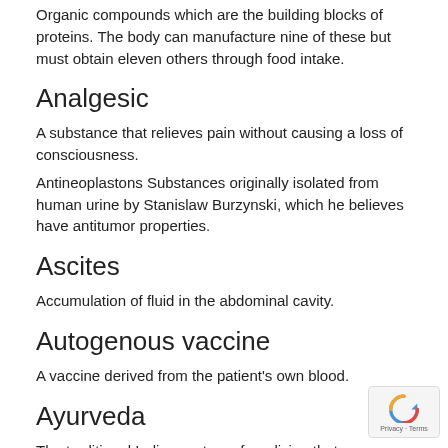Organic compounds which are the building blocks of proteins. The body can manufacture nine of these but must obtain eleven others through food intake.
Analgesic
A substance that relieves pain without causing a loss of consciousness.
Antineoplastons Substances originally isolated from human urine by Stanislaw Burzynski, which he believes have antitumor properties.
Ascites
Accumulation of fluid in the abdominal cavity.
Autogenous vaccine
A vaccine derived from the patient's own blood.
Ayurveda
The traditional Indian system of medicine that uses herbs,